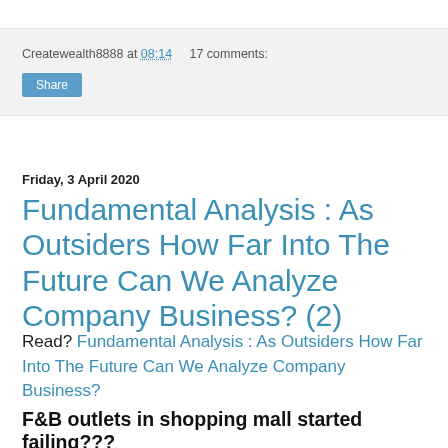Createwealth8888 at 08:14    17 comments:
Share
Friday, 3 April 2020
Fundamental Analysis : As Outsiders How Far Into The Future Can We Analyze Company Business? (2)
Read? Fundamental Analysis : As Outsiders How Far Into The Future Can We Analyze Company Business?
F&B outlets in shopping mall started failing???